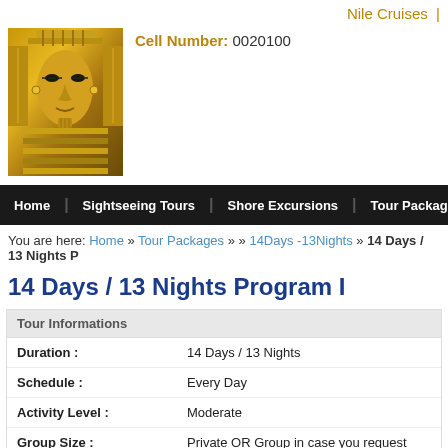Nile Cruises |
[Figure (photo): Golden pharaoh mask / Tutankhamun burial mask illustration]
Cell Number: 0020100
Home | Sightseeing Tours | Shore Excursions | Tour Packages | Deser
You are here: Home » Tour Packages » » 14Days -13Nights » 14 Days / 13 Nights P
14 Days / 13 Nights Program I
| Field | Value |
| --- | --- |
| Duration : | 14 Days / 13 Nights |
| Schedule : | Every Day |
| Activity Level : | Moderate |
| Group Size : | Private OR Group in case you request |
| Advice : | Show |
| Restrictions : | N/A |